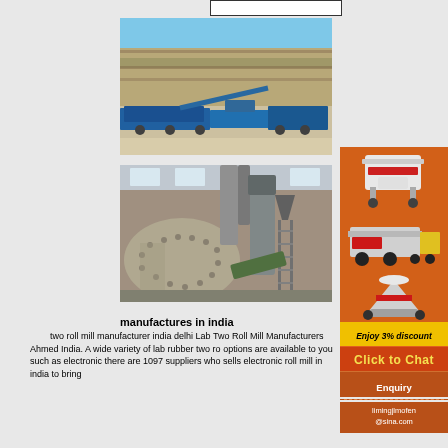[Figure (photo): Aerial view of a quarry mining site with blue mobile crushing and screening equipment spread across a rocky terrain]
[Figure (photo): Interior of an industrial facility showing a large ball mill grinding machine with pipes and ducts, industrial building]
manufactures in india
two roll mill manufacturer india delhi Lab Two Roll Mill Manufacturers Ahmedabad India. A wide variety of lab rubber two roll options are available to you such as electronic there are 1097 suppliers who sells electronic roll mill in india to bring
[Figure (infographic): Orange advertisement banner showing industrial crushing and milling equipment with text 'Enjoy 3% discount' in yellow and 'Click to Chat' button]
Enquiry
limingjlmofen@sina.com